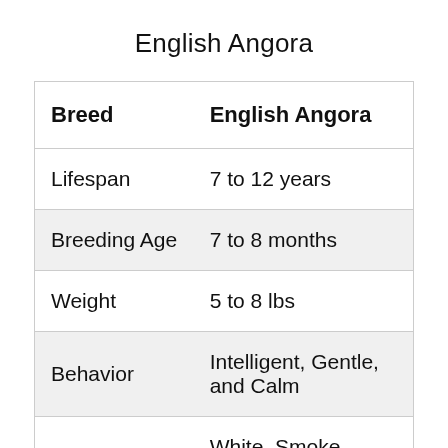English Angora
| Breed | English Angora |
| --- | --- |
| Lifespan | 7 to 12 years |
| Breeding Age | 7 to 8 months |
| Weight | 5 to 8 lbs |
| Behavior | Intelligent, Gentle, and Calm |
|  | White, Smoke, Blue, Chinchilla... |